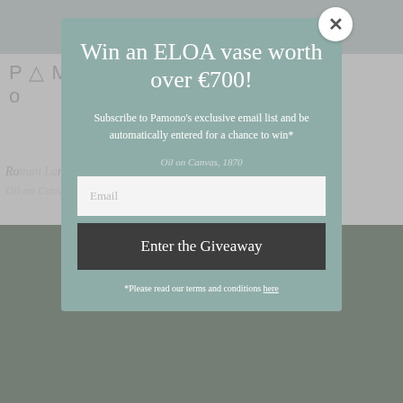[Figure (screenshot): Website background showing a navigation header with logo area, page title text about a Roman landscape painting, and a dark artwork image below, all partially obscured by a modal popup overlay]
Win an ELOA vase worth over €700!
Subscribe to Pamono's exclusive email list and be automatically entered for a chance to win*
Email
Enter the Giveaway
*Please read our terms and conditions here